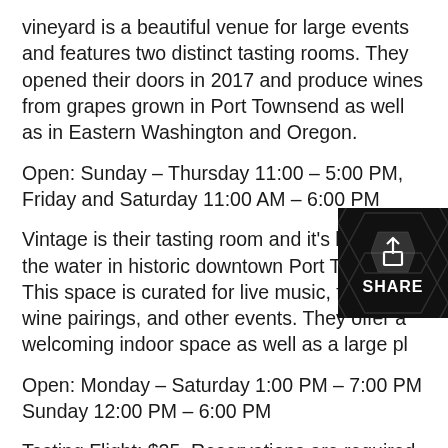vineyard is a beautiful venue for large events and features two distinct tasting rooms. They opened their doors in 2017 and produce wines from grapes grown in Port Townsend as well as in Eastern Washington and Oregon.
Open: Sunday – Thursday 11:00 – 5:00 PM, Friday and Saturday 11:00 AM – 6:00 PM
Vintage is their tasting room and it's located on the water in historic downtown Port Townsend. This space is curated for live music, food and wine pairings, and other events. They offer a welcoming indoor space as well as a large pl…
Open: Monday – Saturday 1:00 PM – 7:00 PM Sunday 12:00 PM – 6:00 PM
Tasting Flight: $25. Reservations are required.
For more coverage of local wineries, watch our